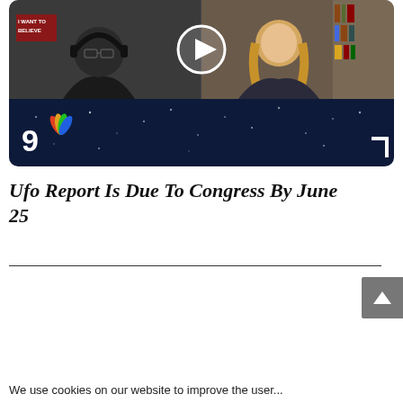[Figure (screenshot): Video thumbnail showing two people in a split-screen video call. Left person wears headphones and black shirt; background has 'I WANT TO BELIEVE' poster. Right person is a woman with long blonde hair. Center shows a circular play button overlay. Bottom shows NBC9 logo and a dark blue starry background.]
Ufo Report Is Due To Congress By June 25
We use cookies on our website to improve the user...